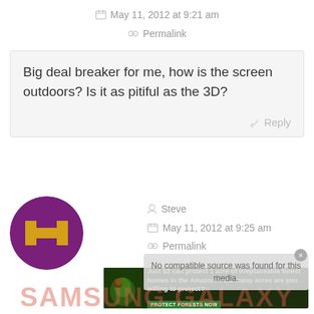May 11, 2012 at 9:21 am
Permalink
Big deal breaker for me, how is the screen outdoors? Is it as pitiful as the 3D?
Reply
[Figure (illustration): Pixel art avatar — purple circle with yellow blocky 'H' robot face icon]
Steve
May 11, 2012 at 9:25 am
Permalink
No compatible source was found for this media.
[Figure (photo): Amazon forest advertisement banner: 'Just $2 can protect 1 acre of irreplaceable forest homes in the Amazon. How many acres are you willing to protect?' with PROTECT FORESTS NOW button]
SAMSUNG GALAXY